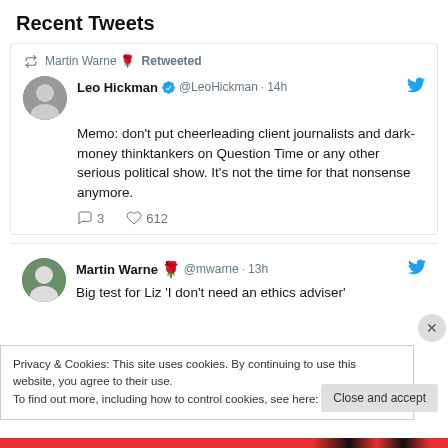Recent Tweets
Martin Warne 🌹 Retweeted
Leo Hickman ✔ @LeoHickman · 14h
Memo: don't put cheerleading client journalists and dark-money thinktankers on Question Time or any other serious political show. It's not the time for that nonsense anymore.
💬 3  ♡ 612
Martin Warne 🌹 @mwarne · 13h
Big test for Liz 'I don't need an ethics adviser'
Privacy & Cookies: This site uses cookies. By continuing to use this website, you agree to their use.
To find out more, including how to control cookies, see here: Cookie Policy